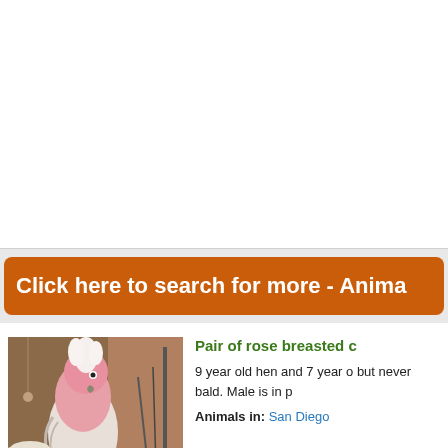[Figure (other): White blank advertisement area at top of page]
Click here to search for more - Anima
[Figure (photo): Photo of a rose breasted cockatoo (galah) bird, pink and white, perched in what appears to be a workshop or garage setting]
Pair of rose breasted c
9 year old hen and 7 year o but never bald. Male is in p
Animals in: San Diego